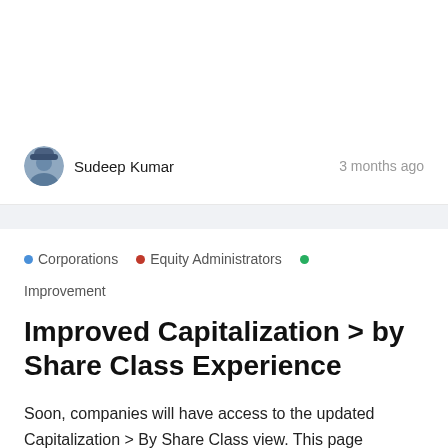[Figure (photo): White card area with author information at the bottom. Avatar photo of Sudeep Kumar, a person wearing a hat outdoors.]
Sudeep Kumar
3 months ago
• Corporations  • Equity Administrators  • Improvement
Improved Capitalization > by Share Class Experience
Soon, companies will have access to the updated Capitalization > By Share Class view. This page